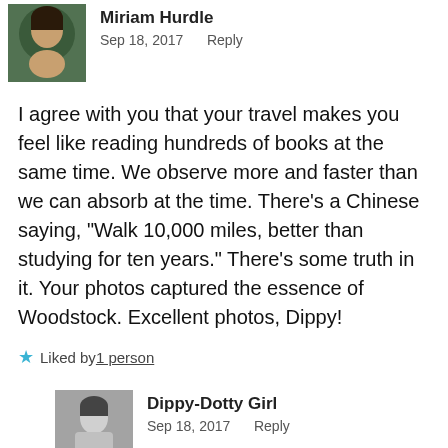[Figure (photo): Profile photo of Miriam Hurdle, a woman with dark hair]
Miriam Hurdle
Sep 18, 2017   Reply
I agree with you that your travel makes you feel like reading hundreds of books at the same time. We observe more and faster than we can absorb at the time. There’s a Chinese saying, “Walk 10,000 miles, better than studying for ten years.” There’s some truth in it. Your photos captured the essence of Woodstock. Excellent photos, Dippy!
★ Liked by 1 person
[Figure (photo): Profile photo of Dippy-Dotty Girl, black and white photo of a girl]
Dippy-Dotty Girl
Sep 18, 2017   Reply